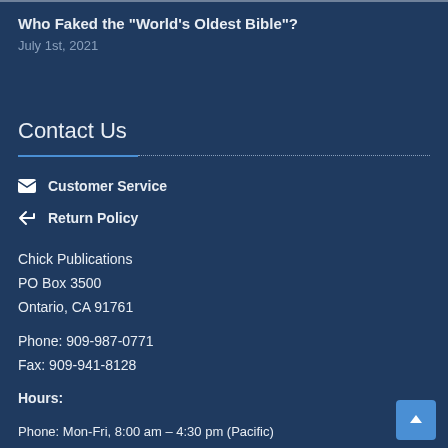Who Faked the "World's Oldest Bible"?
July 1st, 2021
Contact Us
✉ Customer Service
↩ Return Policy
Chick Publications
PO Box 3500
Ontario, CA 91761
Phone: 909-987-0771
Fax: 909-941-8128
Hours:
Phone: Mon-Fri, 8:00 am – 4:30 pm (Pacific)